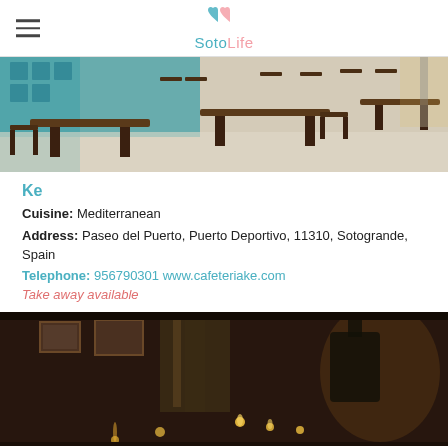SotoLife
[Figure (photo): Interior of a Mediterranean restaurant with wooden chairs and tables, teal/turquoise tile wall in background, bright daytime lighting]
Ke
Cuisine: Mediterranean
Address: Paseo del Puerto, Puerto Deportivo, 11310, Sotogrande, Spain
Telephone: 956790301 www.cafeteriake.com
Take away available
[Figure (photo): Dimly lit restaurant interior with candles on tables, warm amber lighting, dark wood decor]